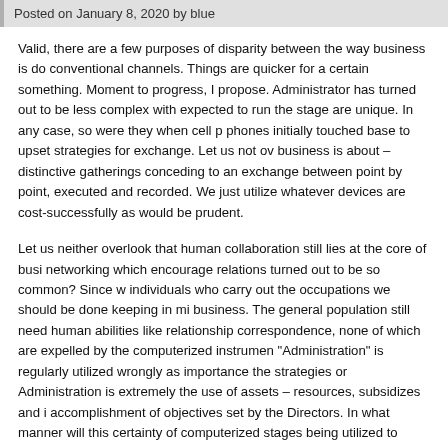Posted on January 8, 2020 by blue
Valid, there are a few purposes of disparity between the way business is do conventional channels. Things are quicker for a certain something. Moment to progress, I propose. Administrator has turned out to be less complex with expected to run the stage are unique. In any case, so were they when cell p phones initially touched base to upset strategies for exchange. Let us not ov business is about – distinctive gatherings conceding to an exchange between point by point, executed and recorded. We just utilize whatever devices are cost-successfully as would be prudent.
Let us neither overlook that human collaboration still lies at the core of busi networking which encourage relations turned out to be so common? Since w individuals who carry out the occupations we should be done keeping in mi business. The general population still need human abilities like relationship correspondence, none of which are expelled by the computerized instrumen "Administration" is regularly utilized wrongly as importance the strategies or Administration is extremely the use of assets – resources, subsidizes and i accomplishment of objectives set by the Directors. In what manner will this certainty of computerized stages being utilized to execute assignments? Th every necessary step should at present be coordinated, spurred, compensa